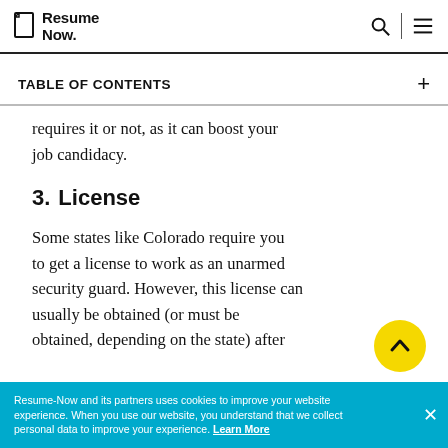Resume Now.
TABLE OF CONTENTS
requires it or not, as it can boost your job candidacy.
3. License
Some states like Colorado require you to get a license to work as an unarmed security guard. However, this license can usually be obtained (or must be obtained, depending on the state) after
Resume-Now and its partners uses cookies to improve your website experience. When you use our website, you understand that we collect personal data to improve your experience. Learn More